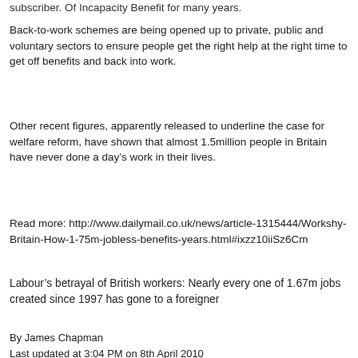subscriber. Of Incapacity Benefit for many years.
Back-to-work schemes are being opened up to private, public and voluntary sectors to ensure people get the right help at the right time to get off benefits and back into work.
Other recent figures, apparently released to underline the case for welfare reform, have shown that almost 1.5million people in Britain have never done a day’s work in their lives.
Read more: http://www.dailymail.co.uk/news/article-1315444/Workshy-Britain-How-1-75m-jobless-benefits-years.html#ixzz10iiSz6Cm
Labour’s betrayal of British workers: Nearly every one of 1.67m jobs created since 1997 has gone to a foreigner
By James Chapman
Last updated at 3:04 PM on 8th April 2010